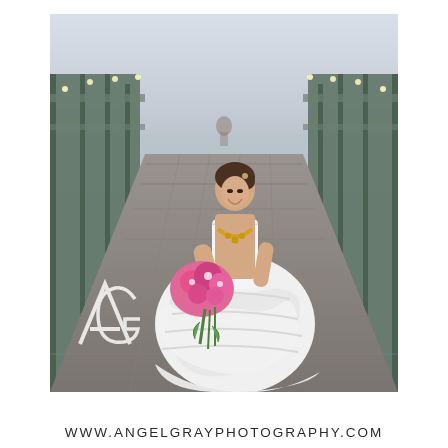[Figure (photo): A bride in a white layered ball gown wedding dress stands on a wooden pier/boardwalk, holding a bright pink floral bouquet. She is smiling and wearing a gold statement necklace. The boardwalk recedes into the background with green railings and string lights. An 'AG' watermark logo appears in the lower left of the photo.]
WWW.ANGELGRAYPHOTOGRAPHY.COM